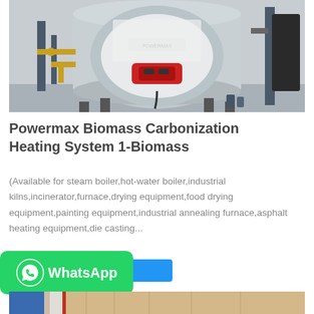[Figure (photo): Industrial boiler/carbonization heating system in a factory building. Large cylindrical silver boiler with red burner assembly, yellow gas pipes, and various equipment. Grey concrete walls.]
Powermax Biomass Carbonization Heating System 1-Biomass
(Available for steam boiler,hot-water boiler,industrial kilns,incinerator,furnace,drying equipment,food drying equipment,painting equipment,industrial annealing furnace,asphalt heating equipment,die casting...
[Figure (photo): Partial view of another industrial equipment or product, showing blue and wooden/tan colored materials.]